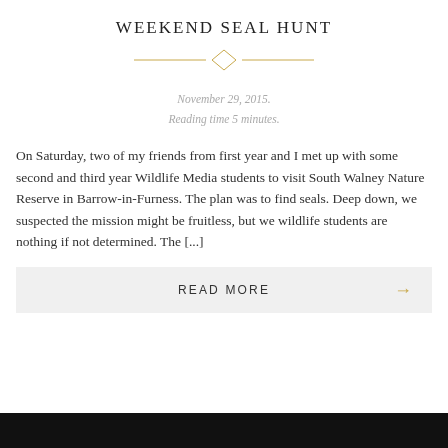WEEKEND SEAL HUNT
[Figure (illustration): Decorative horizontal divider with a diamond/rhombus shape in the center, gold/tan colored lines extending left and right]
November 29, 2015.
Reading time 5 minutes.
On Saturday, two of my friends from first year and I met up with some second and third year Wildlife Media students to visit South Walney Nature Reserve in Barrow-in-Furness. The plan was to find seals. Deep down, we suspected the mission might be fruitless, but we wildlife students are nothing if not determined. The [...]
READ MORE →